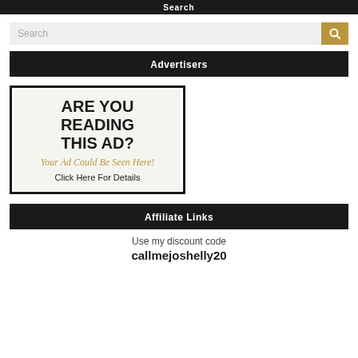Search
[Figure (screenshot): Search bar with gold search button icon]
Advertisers
[Figure (infographic): Advertisement box with text: ARE YOU READING THIS AD? Your Ad Could Be Seen Here! Click Here For Details]
Affiliate Links
Use my discount code
callmejoshelly20